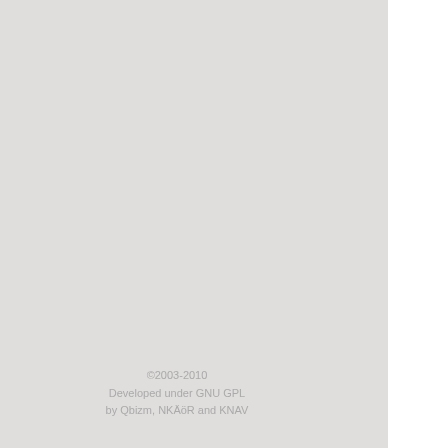[Figure (screenshot): Scanned newspaper page shown as a thumbnail image in the upper right portion of the page. Shows dense German-language text columns with a small bar chart/image inset on the right side. The newspaper appears to be historical.]
©2003-2010
Developed under GNU GPL
by Qbizm, NKÄöR and KNAV